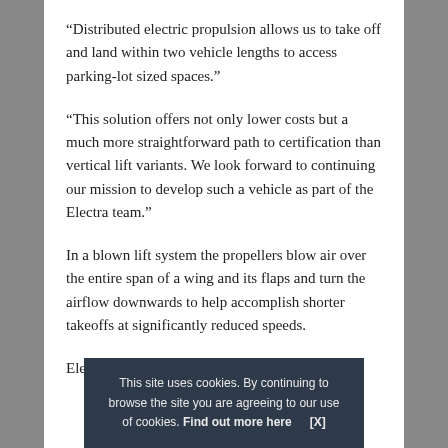“Distributed electric propulsion allows us to take off and land within two vehicle lengths to access parking-lot sized spaces.”
“This solution offers not only lower costs but a much more straightforward path to certification than vertical lift variants. We look forward to continuing our mission to develop such a vehicle as part of the Electra team.”
In a blown lift system the propellers blow air over the entire span of a wing and its flaps and turn the airflow downwards to help accomplish shorter takeoffs at significantly reduced speeds.
Electra's a... co 1,000 lb...
This site uses cookies. By continuing to browse the site you are agreeing to our use of cookies. Find out more here   [X]